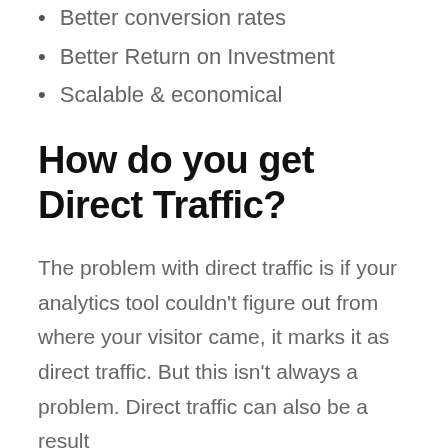Better conversion rates
Better Return on Investment
Scalable & economical
How do you get Direct Traffic?
The problem with direct traffic is if your analytics tool couldn't figure out from where your visitor came, it marks it as direct traffic. But this isn't always a problem. Direct traffic can also be a result